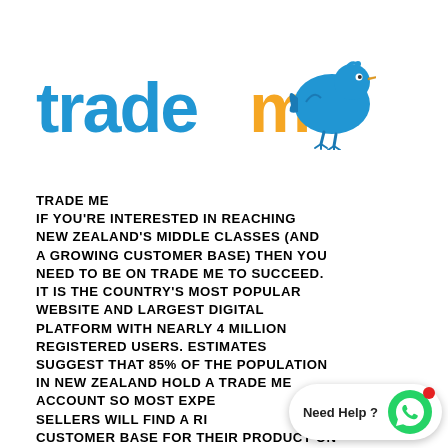[Figure (logo): Trade Me logo: 'trade' in blue lowercase bold, 'me' in orange lowercase bold, followed by a blue cartoon kiwi bird facing right]
TRADE ME IF YOU'RE INTERESTED IN REACHING NEW ZEALAND'S MIDDLE CLASSES (AND A GROWING CUSTOMER BASE) THEN YOU NEED TO BE ON TRADE ME TO SUCCEED. IT IS THE COUNTRY'S MOST POPULAR WEBSITE AND LARGEST DIGITAL PLATFORM WITH NEARLY 4 MILLION REGISTERED USERS. ESTIMATES SUGGEST THAT 85% OF THE POPULATION IN NEW ZEALAND HOLD A TRADE ME ACCOUNT SO MOST EXPERIENCED SELLERS WILL FIND A READY CUSTOMER BASE FOR THEIR PRODUCT ON THE SITE.